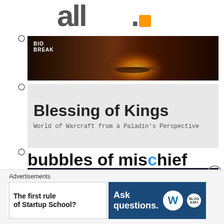[Figure (logo): all. logo with orange square dot]
[Figure (photo): Bio Break blog banner with fireplace scene]
[Figure (logo): Blessing of Kings blog header - World of Warcraft from a Paladin's Perspective]
[Figure (logo): bubbles of mischief blog title text]
[Figure (photo): bubbles of mischief banner with game characters]
Advertisements
[Figure (infographic): Ad: The first rule of Startup School?]
[Figure (infographic): Ad: Ask questions. WordPress logo]